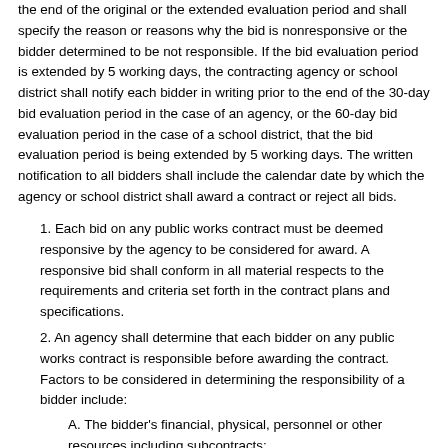the end of the original or the extended evaluation period and shall specify the reason or reasons why the bid is nonresponsive or the bidder determined to be not responsible. If the bid evaluation period is extended by 5 working days, the contracting agency or school district shall notify each bidder in writing prior to the end of the 30-day bid evaluation period in the case of an agency, or the 60-day bid evaluation period in the case of a school district, that the bid evaluation period is being extended by 5 working days. The written notification to all bidders shall include the calendar date by which the agency or school district shall award a contract or reject all bids.
1. Each bid on any public works contract must be deemed responsive by the agency to be considered for award. A responsive bid shall conform in all material respects to the requirements and criteria set forth in the contract plans and specifications.
2. An agency shall determine that each bidder on any public works contract is responsible before awarding the contract. Factors to be considered in determining the responsibility of a bidder include:
A. The bidder's financial, physical, personnel or other resources including subcontracts;